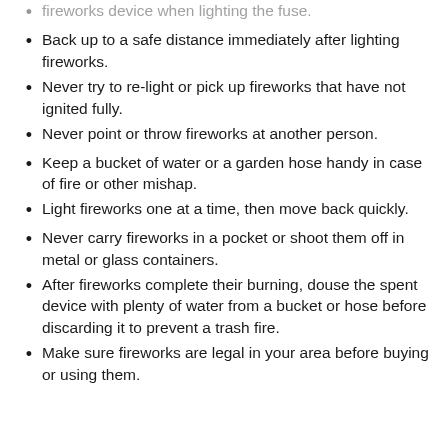fireworks device when lighting the fuse. [truncated top]
Back up to a safe distance immediately after lighting fireworks.
Never try to re-light or pick up fireworks that have not ignited fully.
Never point or throw fireworks at another person.
Keep a bucket of water or a garden hose handy in case of fire or other mishap.
Light fireworks one at a time, then move back quickly.
Never carry fireworks in a pocket or shoot them off in metal or glass containers.
After fireworks complete their burning, douse the spent device with plenty of water from a bucket or hose before discarding it to prevent a trash fire.
Make sure fireworks are legal in your area before buying or using them.